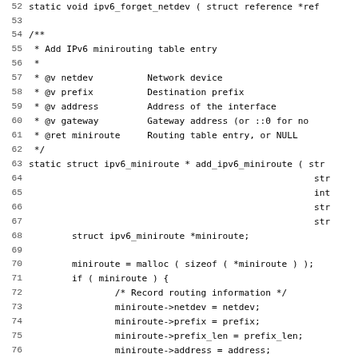Source code listing showing IPv6 minirouting table functions, lines 52-83